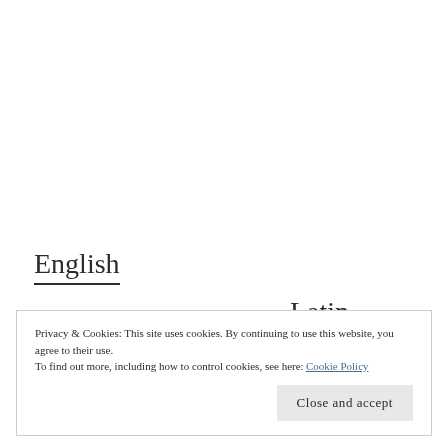English
Latin
Privacy & Cookies: This site uses cookies. By continuing to use this website, you agree to their use.
To find out more, including how to control cookies, see here: Cookie Policy
Close and accept